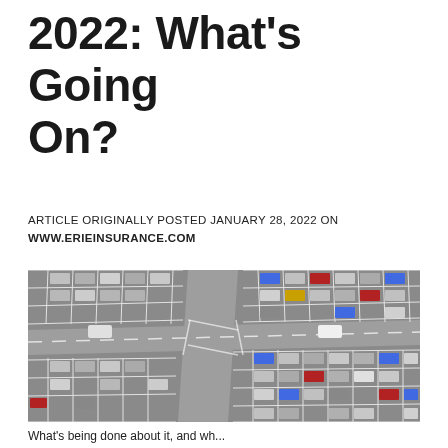2022: What's Going On?
ARTICLE ORIGINALLY POSTED JANUARY 28, 2022 ON WWW.ERIEINSURANCE.COM
[Figure (photo): Aerial view of a large parking lot with many cars parked in rows and driving lanes intersecting, viewed from above. Some parking spaces are empty and some are filled with cars of various colors.]
What's being done about it, and wh...